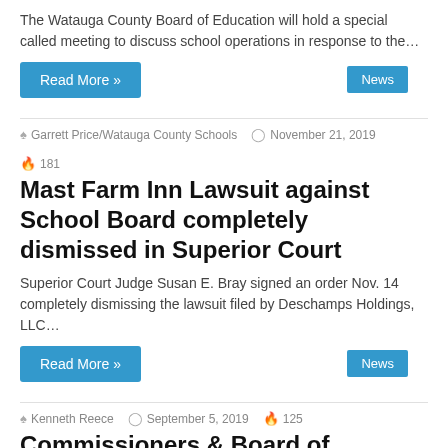The Watauga County Board of Education will hold a special called meeting to discuss school operations in response to the…
Read More »
News
Garrett Price/Watauga County Schools  November 21, 2019  181
Mast Farm Inn Lawsuit against School Board completely dismissed in Superior Court
Superior Court Judge Susan E. Bray signed an order Nov. 14 completely dismissing the lawsuit filed by Deschamps Holdings, LLC…
Read More »
News
Kenneth Reece  September 5, 2019  125
Commissioners & Board of Education Hold Joint Meeting On Proposed New